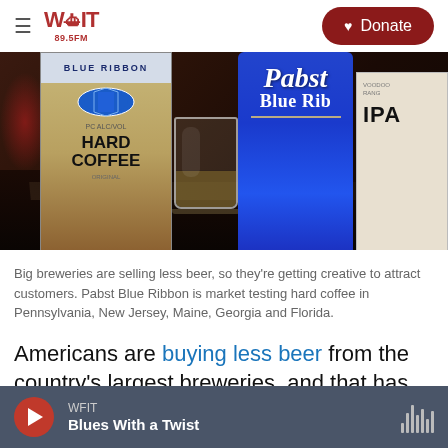WFIT 89.5FM — Donate
[Figure (photo): Photo of Pabst Blue Ribbon Hard Coffee box, a shot glass with liquid, a Pabst Blue Ribbon beer can, and other products on a dark bar counter]
Big breweries are selling less beer, so they're getting creative to attract customers. Pabst Blue Ribbon is market testing hard coffee in Pennsylvania, New Jersey, Maine, Georgia and Florida.
Americans are buying less beer from the country's largest breweries, and that has companies looking
WFIT — Blues With a Twist